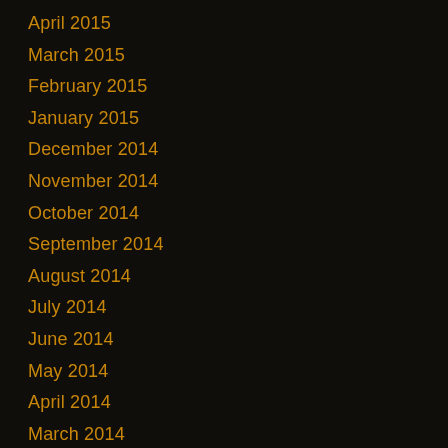April 2015
March 2015
February 2015
January 2015
December 2014
November 2014
October 2014
September 2014
August 2014
July 2014
June 2014
May 2014
April 2014
March 2014
February 2014
January 2014
December 2013
November 2013
October 2013
September 2013